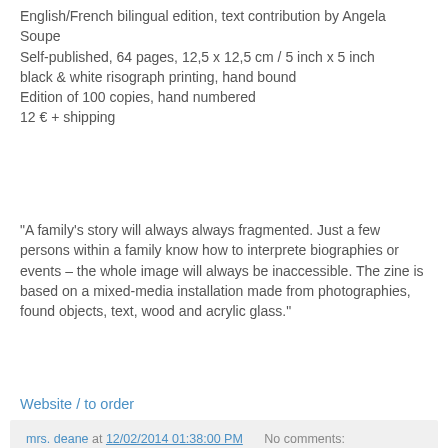English/French bilingual edition, text contribution by Angela Soupe
Self-published, 64 pages, 12,5 x 12,5 cm / 5 inch x 5 inch
black & white risograph printing, hand bound
Edition of 100 copies, hand numbered
12 € + shipping
"A family's story will always always fragmented. Just a few persons within a family know how to interprete biographies or events – the whole image will always be inaccessible. The zine is based on a mixed-media installation made from photographies, found objects, text, wood and acrylic glass."
Website / to order
mrs. deane at 12/02/2014 01:38:00 PM   No comments:
Share
01 December 2014
Kaamna Patel - Apparitions